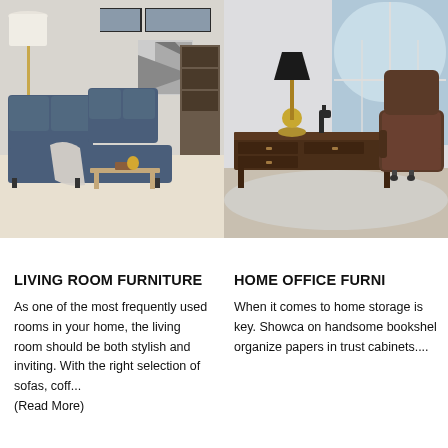[Figure (photo): Living room scene with a blue sectional sofa with chaise lounge, a gold floor lamp with white shade, a throw blanket, coffee table with decor accessories, and wall art in the background.]
[Figure (photo): Home office scene with a dark wood desk, black table lamp with gold base, a leather executive chair, horse figurine decor, and an arched window in the background.]
LIVING ROOM FURNITURE
HOME OFFICE FURNI
As one of the most frequently used rooms in your home, the living room should be both stylish and inviting. With the right selection of sofas, coff... (Read More)
When it comes to home storage is key. Showca on handsome bookshel organize papers in trust cabinets....